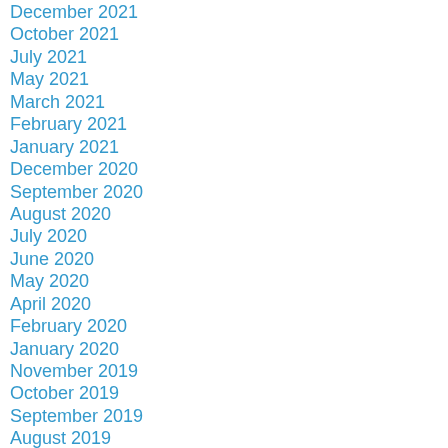December 2021
October 2021
July 2021
May 2021
March 2021
February 2021
January 2021
December 2020
September 2020
August 2020
July 2020
June 2020
May 2020
April 2020
February 2020
January 2020
November 2019
October 2019
September 2019
August 2019
July 2019